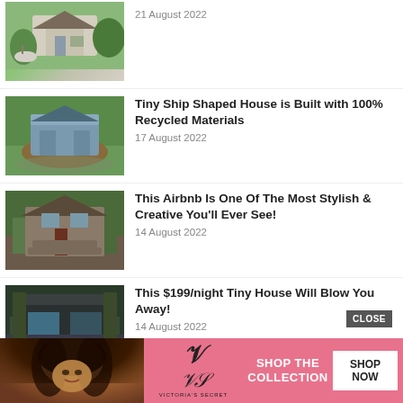[Figure (photo): Small European-style cottage or tiny house with garden, chairs and umbrella outside]
21 August 2022
[Figure (photo): Ship-shaped tiny house built with recycled materials, sitting on grass]
Tiny Ship Shaped House is Built with 100% Recycled Materials
17 August 2022
[Figure (photo): Rustic cabin-style Airbnb with stairs and wooden deck surrounded by trees]
This Airbnb Is One Of The Most Stylish & Creative You'll Ever See!
14 August 2022
[Figure (photo): Dark modern tiny house in forest setting with deck]
This $199/night Tiny House Will Blow You Away!
14 August 2022
[Figure (advertisement): Victoria's Secret advertisement with model, VS logo, 'Shop the Collection' text and Shop Now button]